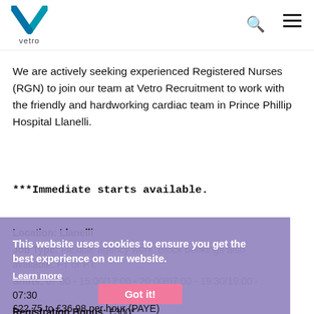vetro
We are actively seeking experienced Registered Nurses (RGN) to join our team at Vetro Recruitment to work with the friendly and hardworking cardiac team in Prince Phillip Hospital Llanelli.
***Immediate starts available.
Location: Llanelli
Job Type: Flexible agency work. Block bookings also available. FT or PT.
Shifts: 07:00 - 15:00/12:00 - 20:00/07:00 - 19:30/19:00 - 07:30
Registration Bonus: £300*
Pay:
This website uses cookies to ensure you get the best experience on our website.
Learn more
Got it!
£22.75 to £36.98 per hour (PAYE)